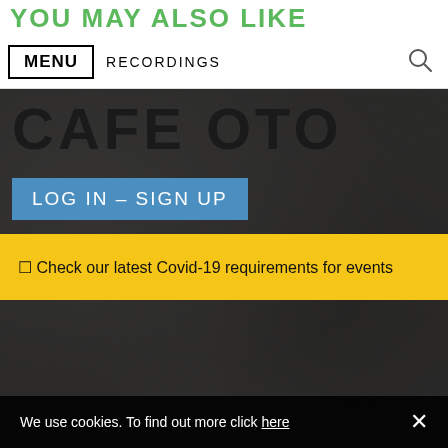YOU MAY ALSO LIKE
MENU  RECORDINGS
CAFE OTO
LOG IN – SIGN UP
🔔 Check our latest Covid-19 requirements for events
[Figure (screenshot): Dark textured background photo filling the lower portion of the website screenshot]
We use cookies. To find out more click here